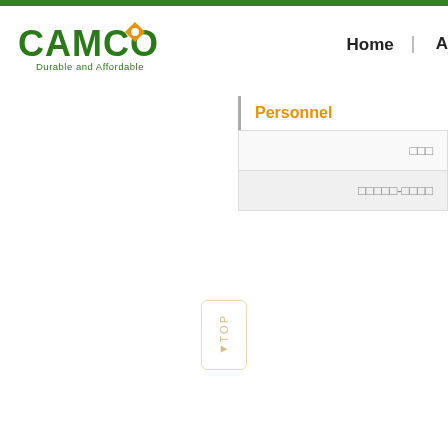[Figure (logo): CAMCO logo with green text and orange gear icon, tagline 'Durable and Affordable']
Home
A
Personnel
□□□
□□□□□-□□□□
TOP